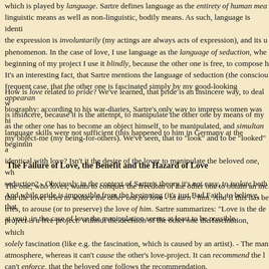which is played by language. Sartre defines language as the entirety of human means, linguistic means as well as non-linguistic, bodily means. As such, language is identically, the expression is involuntarily (my actings are always acts of expression), and its us phenomenon. In the case of love, I use language as the language of seduction, where beginning of my project I use it blindly, because the other one is free, to compose h It's an interesting fact, that Sartre mentions the language of seduction (the conscious frequent case, that the other one is fascinated simply by my good-looking appearan biography: according to his war-diaries, Sartre's only way to impress women was hi language skills were not sufficient (this happened to him in Germany at the beginning
How is love related to pride? We've learned, that pride is an insincere way, to deal w is insincere, because it is the attempt, to manipulate the other one by means of my as the other one has to become an object himself, to be manipulated, and simultan my object-me (my being-for-others). We've seen, that to "look" and to be "looked" a identical with love? Isn't it the desire of the lover to manipulate the beloved one, wh seduction? - Obviously in the context of Sartre's theory it's not easy, to isolate both And while pride is impossible from the beginning (it's just Bad Faith, to believe, that at you), in the case of love the manipulation seems at least to be possible.
The Failure of Love, the Benefit and the Hazard of Love
The one, who loves, wants to conquer the freedom of the other one to obtain an inc that the lover tries to seduce the other one, to love - in turn - him. And if this has be tries, to arouse (or to preserve) the love of him. Sartre summarizes: "Love is the de project is a free project: without the decision of the other one the fascination, which solely fascination (like e.g. the fascination, which is caused by an artist). - The man atmosphere, whereas it can't cause the other's love-project. It can recommend the l can't enforce, that the beloved one follows the recommendation.